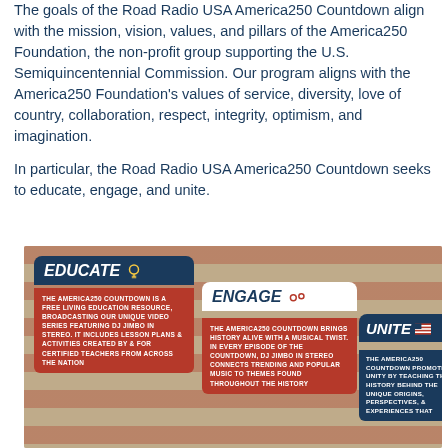The goals of the Road Radio USA America250 Countdown align with the mission, vision, values, and pillars of the America250 Foundation, the non-profit group supporting the U.S. Semiquincentennial Commission. Our program aligns with the America250 Foundation's values of service, diversity, love of country, collaboration, respect, integrity, optimism, and imagination.
In particular, the Road Radio USA America250 Countdown seeks to educate, engage, and unite.
[Figure (infographic): Infographic with American flag background showing three overlapping cards labeled EDUCATE, ENGAGE, and UNITE. EDUCATE (dark blue header, red body): 'THE AMERICA250 COUNTDOWN IS A FREE LIVING EDUCATION RESOURCE, BROADCASTING OUR UNIQUE VIDEO SERIES FEATURING DJ JIMBO IN STEREO. IT INCLUDES LESSON PLANS & ACTIVITIES CREATED BY & FOR CERTIFIED TEACHERS FROM ACROSS THE NATION'. ENGAGE (white header, red body): 'THE AMERICA250 COUNTDOWN BRINGS HISTORY ALIVE WITH A MUSICAL TWIST. IN EVERY EPISODE OF THE COUNTDOWN, DJ JIMBO IN STEREO CONNECTS TRENDING AND POPULAR MUSIC TO THEMES FOUND THROUGHOUT THE HISTORY'. UNITE (dark blue header and body): 'THE AMERICA250 COUNTDOWN PROMOTES UNITY BY TEACHING THE HISTORY BEHIND THE UNIQUE ORIGINS, PERSPECTIVES, & EXPERIENCES THAT'.]